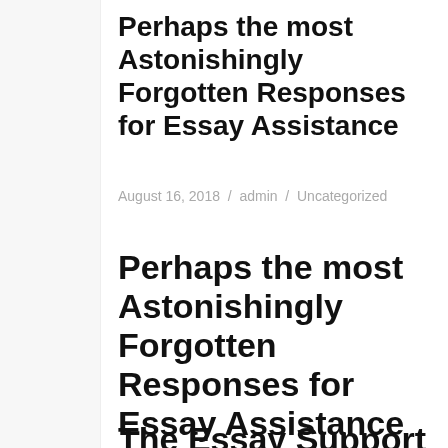Perhaps the most Astonishingly Forgotten Responses for Essay Assistance
August 16, 2018 / admin / Uncategorized
Perhaps the most Astonishingly Forgotten Responses for Essay Assistance
The Essay Support